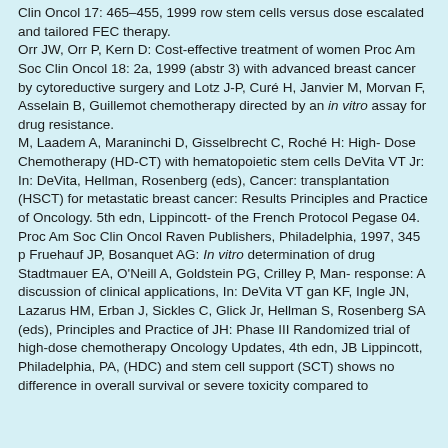Clin Oncol 17: 465–455, 1999 row stem cells versus dose escalated and tailored FEC therapy.
Orr JW, Orr P, Kern D: Cost-effective treatment of women Proc Am Soc Clin Oncol 18: 2a, 1999 (abstr 3) with advanced breast cancer by cytoreductive surgery and Lotz J-P, Curé H, Janvier M, Morvan F, Asselain B, Guillemot chemotherapy directed by an in vitro assay for drug resistance.
M, Laadem A, Maraninchi D, Gisselbrecht C, Roché H: High- Dose Chemotherapy (HD-CT) with hematopoietic stem cells DeVita VT Jr: In: DeVita, Hellman, Rosenberg (eds), Cancer: transplantation (HSCT) for metastatic breast cancer: Results Principles and Practice of Oncology. 5th edn, Lippincott- of the French Protocol Pegase 04. Proc Am Soc Clin Oncol Raven Publishers, Philadelphia, 1997, 345 p Fruehauf JP, Bosanquet AG: In vitro determination of drug Stadtmauer EA, O'Neill A, Goldstein PG, Crilley P, Man- response: A discussion of clinical applications, In: DeVita VT gan KF, Ingle JN, Lazarus HM, Erban J, Sickles C, Glick Jr, Hellman S, Rosenberg SA (eds), Principles and Practice of JH: Phase III Randomized trial of high-dose chemotherapy Oncology Updates, 4th edn, JB Lippincott, Philadelphia, PA, (HDC) and stem cell support (SCT) shows no difference in overall survival or severe toxicity compared to